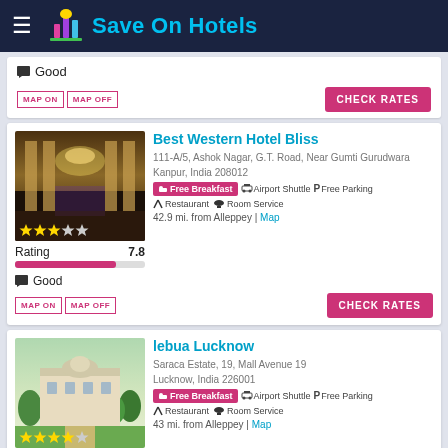Save On Hotels
Good
MAP ON | MAP OFF | CHECK RATES
Best Western Hotel Bliss
111-A/5, Ashok Nagar, G.T. Road, Near Gumti Gurudwara
Kanpur, India 208012
Free Breakfast  Airport Shuttle  Free Parking  Restaurant  Room Service
42.9 mi. from Alleppey | Map
Rating  7.8
Good
MAP ON | MAP OFF | CHECK RATES
lebua Lucknow
Saraca Estate, 19, Mall Avenue 19
Lucknow, India 226001
Free Breakfast  Airport Shuttle  Free Parking  Restaurant  Room Service
43 mi. from Alleppey | Map
Rating  7.8